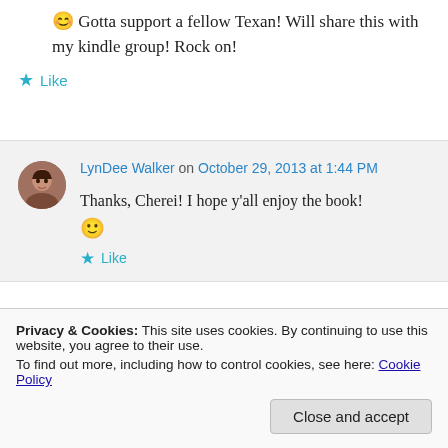😊 Gotta support a fellow Texan! Will share this with my kindle group! Rock on!
★ Like
LynDee Walker on October 29, 2013 at 1:44 PM
Thanks, Cherei! I hope y'all enjoy the book! 🙂
★ Like
Privacy & Cookies: This site uses cookies. By continuing to use this website, you agree to their use. To find out more, including how to control cookies, see here: Cookie Policy
Close and accept